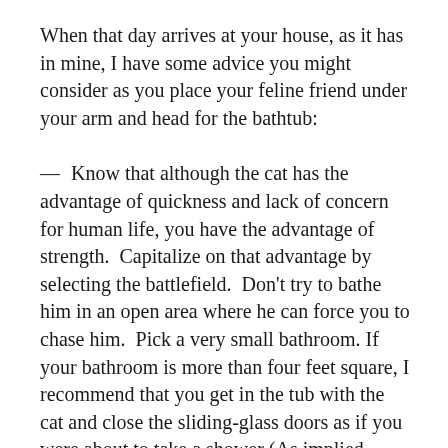When that day arrives at your house, as it has in mine, I have some advice you might consider as you place your feline friend under your arm and head for the bathtub:
— Know that although the cat has the advantage of quickness and lack of concern for human life, you have the advantage of strength. Capitalize on that advantage by selecting the battlefield. Don't try to bathe him in an open area where he can force you to chase him. Pick a very small bathroom. If your bathroom is more than four feet square, I recommend that you get in the tub with the cat and close the sliding-glass doors as if you were about to take a shower (As implied…